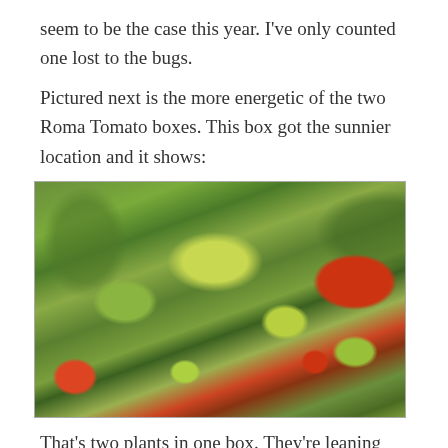seem to be the case this year. I’ve only counted one lost to the bugs.
Pictured next is the more energetic of the two Roma Tomato boxes. This box got the sunnier location and it shows:
[Figure (photo): Photo of Roma tomato plants in a garden box, showing green and red tomatoes hanging from vines with green leaves, plants leaning to the left.]
That’s two plants in one box. They’re leaning over to the left and invading the space of the Oregon Springs.